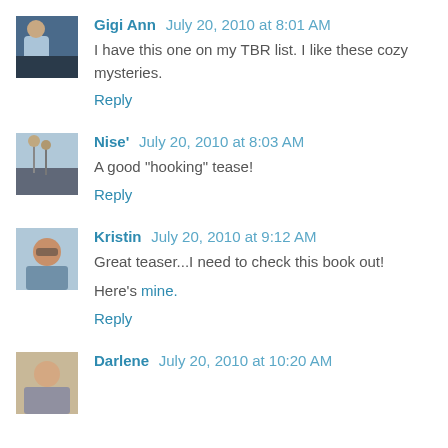Gigi Ann  July 20, 2010 at 8:01 AM
I have this one on my TBR list. I like these cozy mysteries.
Reply
Nise'  July 20, 2010 at 8:03 AM
A good "hooking" tease!
Reply
Kristin  July 20, 2010 at 9:12 AM
Great teaser...I need to check this book out!
Here's mine.
Reply
Darlene  July 20, 2010 at 10:20 AM